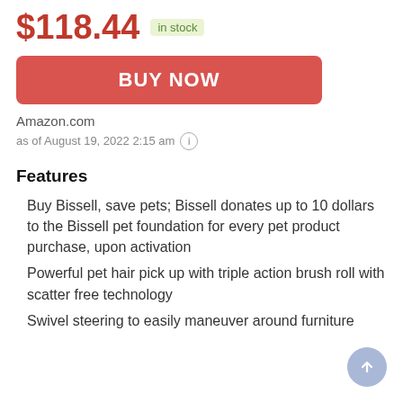$118.44 in stock
[Figure (other): BUY NOW button (red/coral rounded rectangle)]
Amazon.com
as of August 19, 2022 2:15 am ⓘ
Features
Buy Bissell, save pets; Bissell donates up to 10 dollars to the Bissell pet foundation for every pet product purchase, upon activation
Powerful pet hair pick up with triple action brush roll with scatter free technology
Swivel steering to easily maneuver around furniture